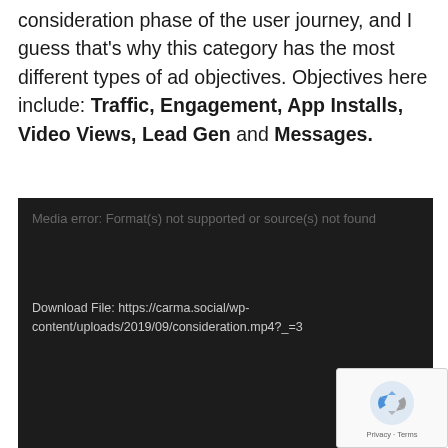consideration phase of the user journey, and I guess that's why this category has the most different types of ad objectives. Objectives here include: Traffic, Engagement, App Installs, Video Views, Lead Gen and Messages.
[Figure (screenshot): Media player error screen with dark background showing: 'Media error: Format(s) not supported or source(s) not found' and 'Download File: https://carma.social/wp-content/uploads/2019/09/consideration.mp4?_=3']